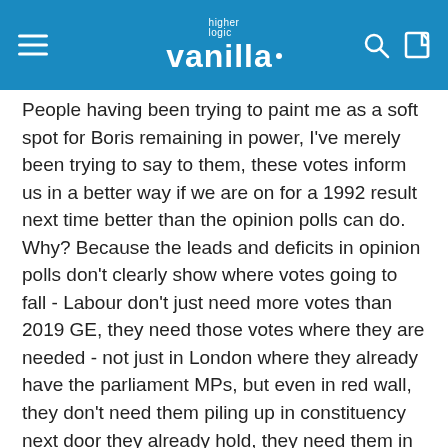higher logic vanilla
People having been trying to paint me as a soft spot for Boris remaining in power, I've merely been trying to say to them, these votes inform us in a better way if we are on for a 1992 result next time better than the opinion polls can do. Why? Because the leads and deficits in opinion polls don't clearly show where votes going to fall - Labour don't just need more votes than 2019 GE, they need those votes where they are needed - not just in London where they already have the parliament MPs, but even in red wall, they don't need them piling up in constituency next door they already hold, they need them in the places they need to win.
Mike has used the headline LD MAKING GAINS IN BLUE WALL – LAB NOT MAKING PROGRESS IN RED WALL very early on here, but already it looks the key take out from this set of elections.